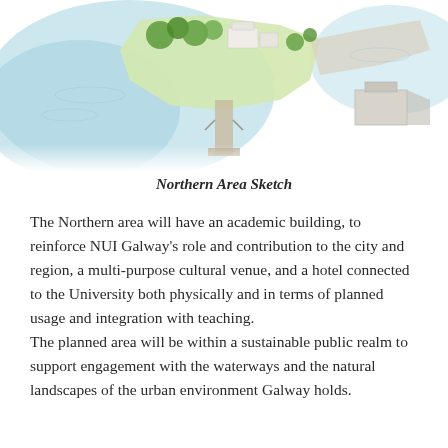[Figure (illustration): Aerial/bird's-eye illustrated sketch of a northern waterfront area with green trees, buildings, a pier or dock extending into blue water, and surrounding landscape features.]
Northern Area Sketch
The Northern area will have an academic building, to reinforce NUI Galway's role and contribution to the city and region, a multi-purpose cultural venue, and a hotel connected to the University both physically and in terms of planned usage and integration with teaching.
The planned area will be within a sustainable public realm to support engagement with the waterways and the natural landscapes of the urban environment Galway holds.